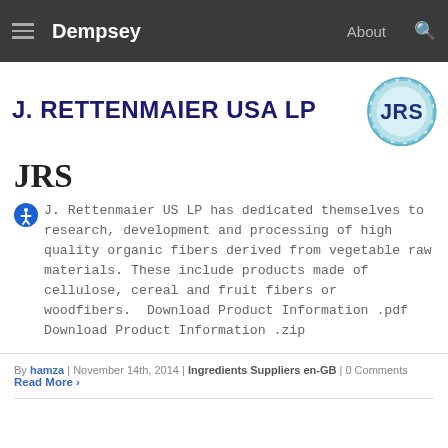Dempsey  About
[Figure (logo): J. RETTENMAIER USA LP banner with JRS gear logo in blue]
JRS
J. Rettenmaier US LP has dedicated themselves to research, development and processing of high quality organic fibers derived from vegetable raw materials. These include products made of cellulose, cereal and fruit fibers or woodfibers.  Download Product Information .pdf  Download Product Information .zip
By hamza | November 14th, 2014 | Ingredients Suppliers en-GB | 0 Comments
Read More ›